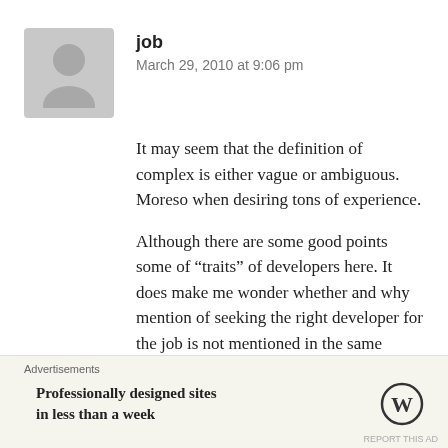[Figure (illustration): Gray avatar placeholder icon of a person silhouette]
job
March 29, 2010 at 9:06 pm
It may seem that the definition of complex is either vague or ambiguous. Moreso when desiring tons of experience.
Although there are some good points some of “traits” of developers here. It does make me wonder whether and why mention of seeking the right developer for the job is not mentioned in the same breath.
Advertisements
Professionally designed sites in less than a week
[Figure (logo): WordPress logo circle W]